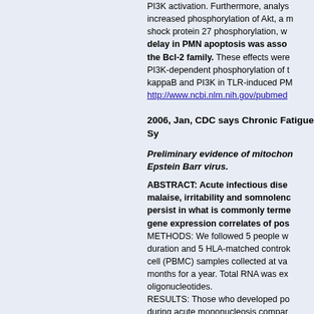PI3K activation. Furthermore, analysis showed increased phosphorylation of Akt, a marker of PI3K activation, along with heat shock protein 27 phosphorylation, while delay in PMN apoptosis was associated with members of the Bcl-2 family. These effects were related to PI3K-dependent phosphorylation of the NF-kappaB and PI3K in TLR-induced PMN apoptosis. http://www.ncbi.nlm.nih.gov/pubmed...
2006, Jan, CDC says Chronic Fatigue Sy...
Preliminary evidence of mitochondrial... Epstein Barr virus.
ABSTRACT: Acute infectious dise... malaise, irritability and somnolence... persist in what is commonly termed... gene expression correlates of post... METHODS: We followed 5 people w... duration and 5 HLA-matched control... cell (PBMC) samples collected at va... months for a year. Total RNA was ex... oligonucleotides. RESULTS: Those who developed po... during acute mononucleosis compar... stimulated gene), DNAJB2 (DnaJ [H... factor 2), CDK8 (cyclin-dependent ki... differentially expressed in post-infect... functions including fatty acid metabo...